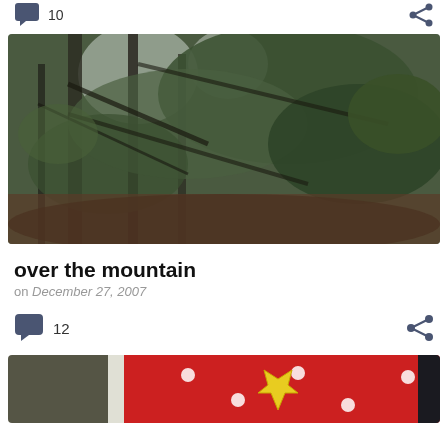[Figure (screenshot): Top bar with comment icon and share icon (partial, from previous card)]
[Figure (photo): Forest photo showing moss-covered trees and bare branches in a dense woodland, overcast sky]
over the mountain
on December 27, 2007
[Figure (screenshot): Bottom action bar with comment bubble icon showing count 12 and a share icon]
[Figure (photo): Partial photo at bottom showing red fabric with white polka dots and a yellow star shape]